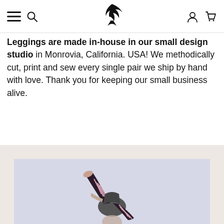Navigation header with menu, search, logo, account and cart icons
Leggings are made in-house in our small design studio in Monrovia, California. USA! We methodically cut, print and sew every single pair we ship by hand with love. Thank you for keeping our small business alive.
[Figure (photo): Person wearing black and white striped/patterned leggings in a yoga or dance pose against a light lavender/grey background, cropped showing lower body and legs raised.]